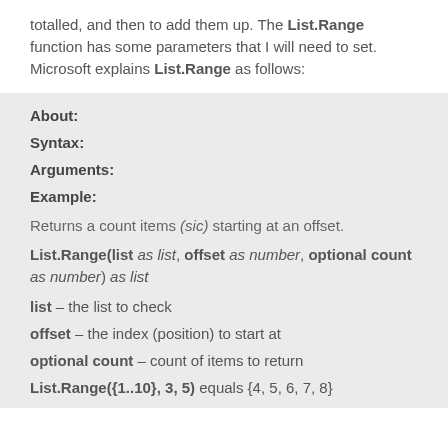totalled, and then to add them up. The List.Range function has some parameters that I will need to set.  Microsoft explains List.Range as follows:
About:
Syntax:
Arguments:
Example:
Returns a count items (sic) starting at an offset.
List.Range(list as list, offset as number, optional count as number) as list
list – the list to check
offset – the index (position) to start at
optional count – count of items to return
List.Range({1..10}, 3, 5) equals {4, 5, 6, 7, 8}